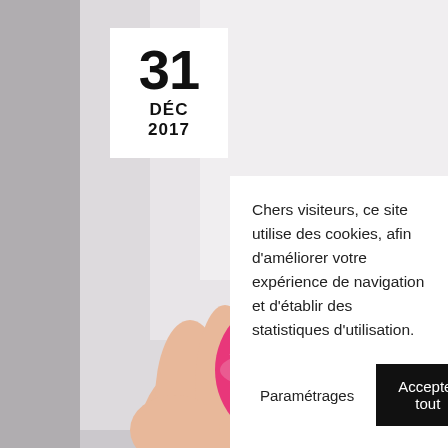[Figure (photo): A hand holding a small pink Christmas ornament/bauble against a light grey/white background. The ornament has a metal cap and hanging loop at the top.]
31
DÉC
2017
Chers visiteurs, ce site utilise des cookies, afin d'améliorer votre expérience de navigation et d'établir des statistiques d'utilisation.
Paramétrages
Accepter tout